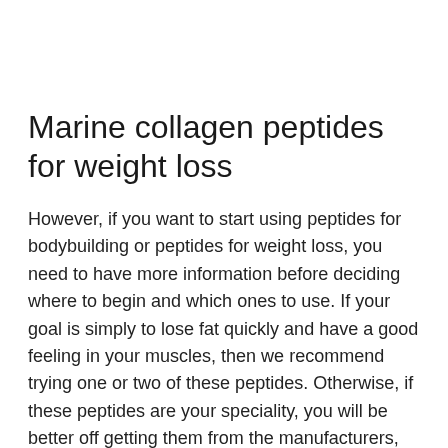Marine collagen peptides for weight loss
However, if you want to start using peptides for bodybuilding or peptides for weight loss, you need to have more information before deciding where to begin and which ones to use. If your goal is simply to lose fat quickly and have a good feeling in your muscles, then we recommend trying one or two of these peptides. Otherwise, if these peptides are your speciality, you will be better off getting them from the manufacturers, sarm for losing weight.
The amino acids and peptides in this article represent only a very small portion of the peptide-like substances available today, do